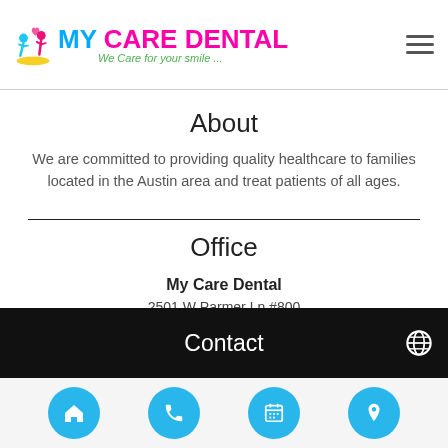[Figure (logo): My Care Dental logo with stylized figures icon and text 'MY CARE DENTAL' with tagline 'We Care for your smile...']
About
We are committed to providing quality healthcare to families located in the Austin area and treat patients of all ages.
Office
My Care Dental
2501 W Parmer Ln #800
Austin, TX 78727
Contact